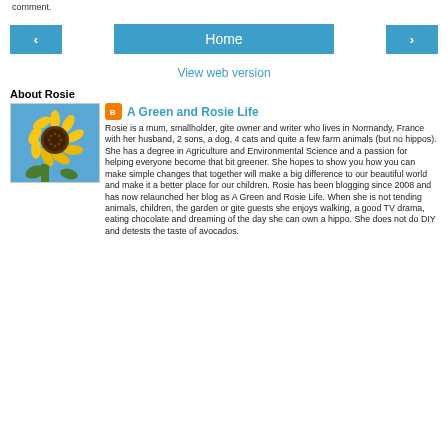comment.
Home
View web version
About Rosie
[Figure (photo): Sunflower photo with yellow petals and dark center against blue sky]
A Green and Rosie Life
Rosie is a mum, smallholder, gite owner and writer who lives in Normandy, France with her husband, 2 sons, a dog, 4 cats and quite a few farm animals (but no hippos). She has a degree in Agriculture and Environmental Science and a passion for helping everyone become that bit greener. She hopes to show you how you can make simple changes that together will make a big difference to our beautiful world and make it a better place for our children. Rosie has been blogging since 2008 and has now relaunched her blog as A Green and Rosie Life. When she is not tending animals, children, the garden or gite guests she enjoys walking, a good TV drama, eating chocolate and dreaming of the day she can own a hippo. She does not do DIY and detests the taste of avocados.